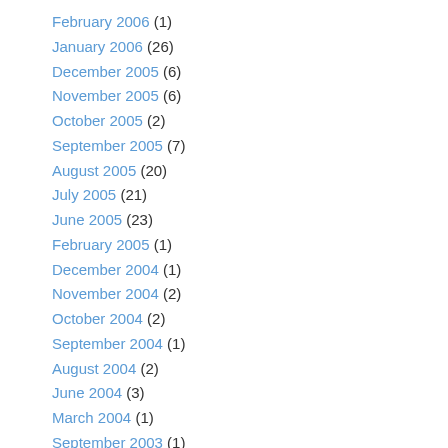February 2006 (1)
January 2006 (26)
December 2005 (6)
November 2005 (6)
October 2005 (2)
September 2005 (7)
August 2005 (20)
July 2005 (21)
June 2005 (23)
February 2005 (1)
December 2004 (1)
November 2004 (2)
October 2004 (2)
September 2004 (1)
August 2004 (2)
June 2004 (3)
March 2004 (1)
September 2003 (1)